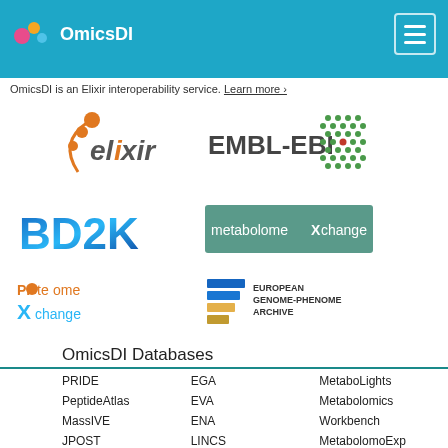OmicsDI
OmicsDI is an Elixir interoperability service. Learn more ›
[Figure (logo): ELIXIR logo — stylized helix with orange dots]
[Figure (logo): EMBL-EBI logo — text with green hexagonal dot pattern]
[Figure (logo): BD2K logo — blue stylized text]
[Figure (logo): metabolomeXchange logo — teal rectangle with text]
[Figure (logo): ProteomeXchange logo — blue/orange stylized text]
[Figure (logo): European Genome-Phenome Archive logo — stacked colored lines with text]
OmicsDI Databases
PRIDE
EGA
MetaboLights
PeptideAtlas
EVA
Metabolomics
MassIVE
ENA
Workbench
JPOST
LINCS
MetabolomoExp